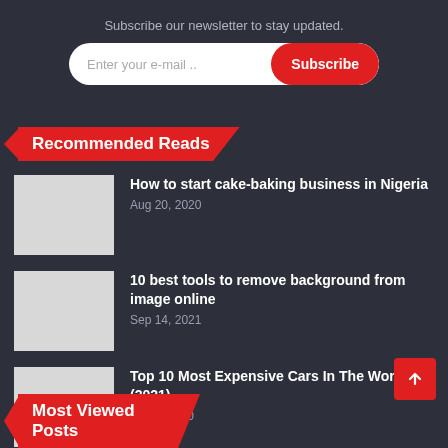Subscribe our newsletter to stay updated.
[Figure (screenshot): Email subscription form with input field 'Enter your e-mail ..' and red 'Subscribe' button]
Recommended Reads
How to start cake-baking business in Nigeria — Aug 20, 2020
10 best tools to remove background from image online — Sep 14, 2021
Top 10 Most Expensive Cars In The World (2021) — Mar 7, 2020
Most Viewed Posts